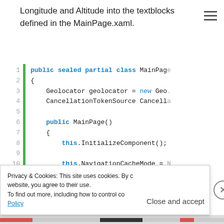Longitude and Altitude into the textblocks defined in the MainPage.xaml.
[Figure (screenshot): Code block showing C# code for MainPage class with line numbers 1-13 and a green vertical bar. Lines include: public sealed partial class MainPage, {, Geolocator geolocator = new Geo., CancellationTokenSource Cancell., (blank), public MainPage(), {, this.InitializeComponent();, (blank), this.NavigationCacheMode =, }, (blank), protected override void OnNavig.]
Privacy & Cookies: This site uses cookies. By continuing to use this website, you agree to their use. To find out more, including how to control cookies, see here: Cookie Policy
Close and accept